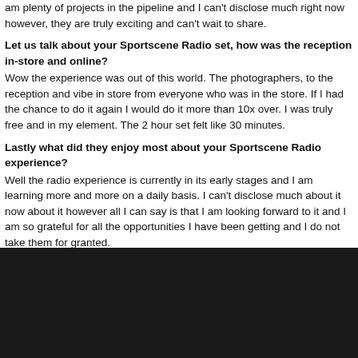am plenty of projects in the pipeline and I can't disclose much right now however, they are truly exciting and can't wait to share.
Let us talk about your Sportscene Radio set, how was the reception in-store and online?
Wow the experience was out of this world. The photographers, to the reception and vibe in store from everyone who was in the store. If I had the chance to do it again I would do it more than 10x over. I was truly free and in my element. The 2 hour set felt like 30 minutes.
Lastly what did they enjoy most about your Sportscene Radio experience?
Well the radio experience is currently in its early stages and I am learning more and more on a daily basis. I can't disclose much about it now about it however all I can say is that I am looking forward to it and I am so grateful for all the opportunities I have been getting and I do not take them for granted.